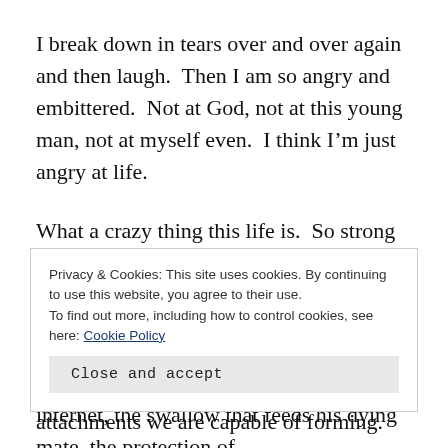I break down in tears over and over again and then laugh.  Then I am so angry and embittered.  Not at God, not at this young man, not at myself even.  I think I'm just angry at life.
What a crazy thing this life is.  So strong and binding…
So fragile and transient…
I've seen the pictures of birds on the internet, the swallow that feeds his dying mate, the protection of
Privacy & Cookies: This site uses cookies. By continuing to use this website, you agree to their use.
To find out more, including how to control cookies, see here: Cookie Policy
Close and accept
attachments we are capable of forming.